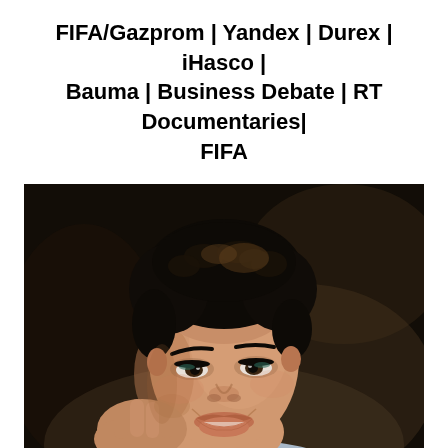FIFA/Gazprom | Yandex | Durex | iHasco | Bauma | Business Debate | RT Documentaries| FIFA
[Figure (photo): Portrait photo of a woman with short dark hair, resting her hand against her cheek, smiling, wearing a light blue top. Dark background.]